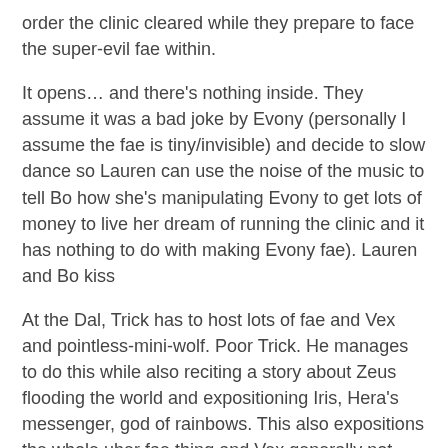order the clinic cleared while they prepare to face the super-evil fae within.
It opens… and there's nothing inside. They assume it was a bad joke by Evony (personally I assume the fae is tiny/invisible) and decide to slow dance so Lauren can use the noise of the music to tell Bo how she's manipulating Evony to get lots of money to live her dream of running the clinic and it has nothing to do with making Evony fae). Lauren and Bo kiss
At the Dal, Trick has to host lots of fae and Vex and pointless-mini-wolf. Poor Trick. He manages to do this while also reciting a story about Zeus flooding the world and expositioning Iris, Hera's messenger, god of rainbows. This also expositions the whole uber fae thing and Vex generally not appreciating being around.
Also Miniwolf Mark really loves storms and aggressively comes on to Vex – which Vex puts down to the storm messing with his mind – until he gives Vex a blowjob while Vex protests who very pissed off Dyson will be before Mark